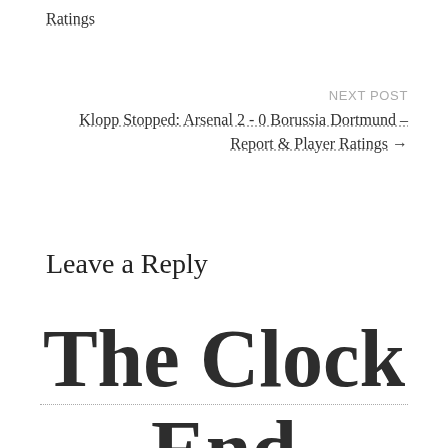Ratings
NEXT POST
Klopp Stopped: Arsenal 2 - 0 Borussia Dortmund – Report & Player Ratings →
Leave a Reply
The Clock End